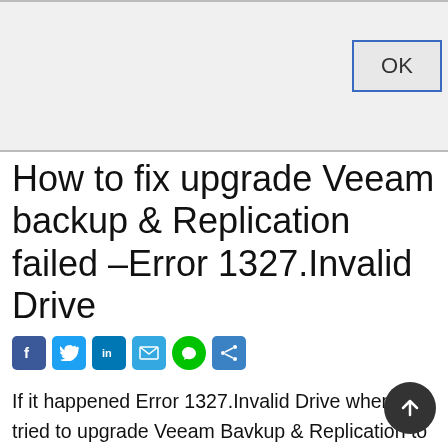[Figure (screenshot): Partial screenshot of a Windows dialog box showing an OK button with blue border on a light gray background]
How to fix upgrade Veeam backup & Replication failed –Error 1327.Invalid Drive
[Figure (infographic): Social sharing icons: Facebook, Twitter, LinkedIn, Email, Line, Share]
If it happened Error 1327.Invalid Drive when you tried to upgrade Veeam Bavkup & Replication to 11a, don't panic, this is likely caused by a stale registry entry for the Veeam server. In my case,